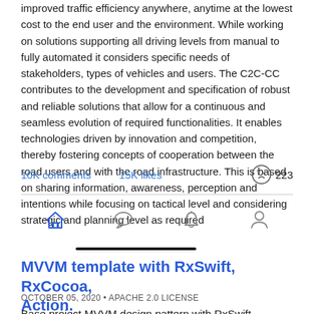improved traffic efficiency anywhere, anytime at the lowest cost to the end user and the environment. While working on solutions supporting all driving levels from manual to fully automated it considers specific needs of stakeholders, types of vehicles and users. The C2C-CC contributes to the development and specification of robust and reliable solutions that allow for a continuous and seamless evolution of required functionalities. It enables technologies driven by innovation and competition, thereby fostering concepts of cooperation between the road users and with the road infrastructure. This is based on sharing information, awareness, perception and intentions while focusing on tactical level and considering strategic and planning level as required
10K comments   15K likes   223
[Figure (screenshot): Navigation bar with home icon (highlighted in blue), chat bubble icon, bell icon, and profile icon. A thick black indicator line under the home icon area.]
MVVM template with RxSwift, RxCocoa, Action.
OCTOBER 05, 2020 • APACHE 2.0 LICENSE
Base project MVVM design pattern with RxSwift, RxCocoa, Action. Features *  Base classes for UIViewController, UIView, UITableView